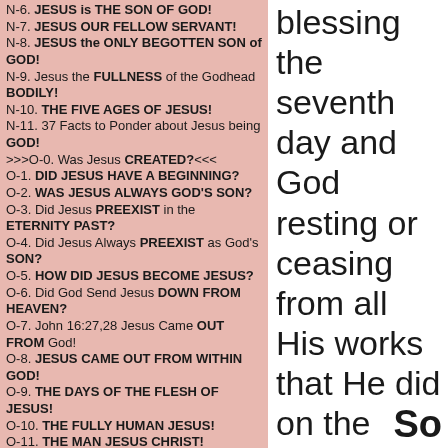N-6. JESUS is THE SON OF GOD!
N-7. JESUS OUR FELLOW SERVANT!
N-8. JESUS the ONLY BEGOTTEN SON of GOD!
N-9. Jesus the FULLNESS of the Godhead BODILY!
N-10. THE FIVE AGES OF JESUS!
N-11. 37 Facts to Ponder about Jesus being GOD!
>>>O-0. Was Jesus CREATED?<<<
O-1. DID JESUS HAVE A BEGINNING?
O-2. WAS JESUS ALWAYS GOD'S SON?
O-3. Did Jesus PREEXIST in the ETERNITY PAST?
O-4. Did Jesus Always PREEXIST as God's SON?
O-5. HOW DID JESUS BECOME JESUS?
O-6. Did God Send Jesus DOWN FROM HEAVEN?
O-7. John 16:27,28 Jesus Came OUT FROM God!
O-8. JESUS CAME OUT FROM WITHIN GOD!
O-9. THE DAYS OF THE FLESH OF JESUS!
O-10. THE FULLY HUMAN JESUS!
O-11. THE MAN JESUS CHRIST!
O-12. Jesus said WHO DO YOU SAY THAT I AM?
O-13. What does Firstborn of every Creature mean
O-14. When did Jesus Become God's Son? Part 1
O-15. When did Jesus Become God's Son? Part 2
O-16. When did Jesus Become God's Son? Part 3
O-17. TRY the SPIRITS to see if they are OF God!
blessing the seventh day and God resting or ceasing from all His works that He did on the seventh day.
So